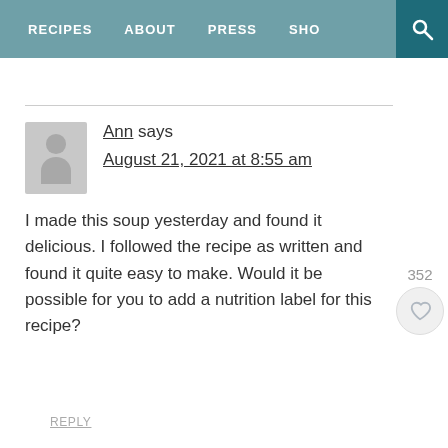RECIPES   ABOUT   PRESS   SHO
Ann says
August 21, 2021 at 8:55 am

I made this soup yesterday and found it delicious. I followed the recipe as written and found it quite easy to make. Would it be possible for you to add a nutrition label for this recipe?
REPLY